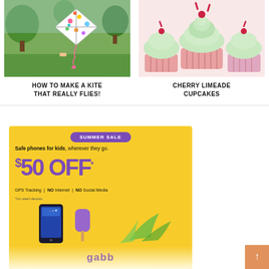[Figure (photo): Person holding a colorful polka-dot kite in a park with green trees]
HOW TO MAKE A KITE THAT REALLY FLIES!
[Figure (photo): Cherry limeade cupcakes with white/green frosting and red candy toppings in pink cupcake liners]
CHERRY LIMEADE CUPCAKES
[Figure (infographic): Gabb phone advertisement banner: SUMMER SALE pill, Safe phones for kids wherever they go, $50 OFF*, GPS Tracking | NO Internet | NO Social Media, *On select devices, phone and popsicle illustration, gabb logo at bottom]